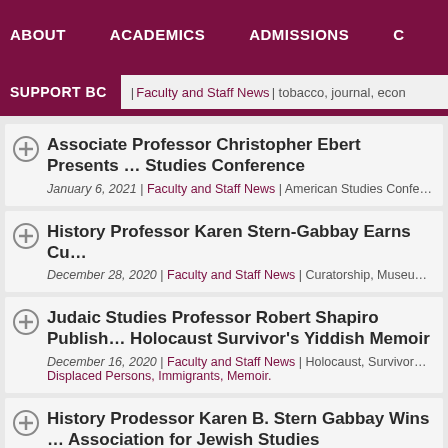ABOUT | ACADEMICS | ADMISSIONS | SUPPORT BC
Faculty and Staff News | tobacco, journal, econ...
Associate Professor Christopher Ebert Presents ... Studies Conference
January 6, 2021 | Faculty and Staff News | American Studies Confe...
History Professor Karen Stern-Gabbay Earns Cu...
December 28, 2020 | Faculty and Staff News | Curatorship, Museu...
Judaic Studies Professor Robert Shapiro Publish... Holocaust Survivor’s Yiddish Memoir
December 16, 2020 | Faculty and Staff News | Holocaust, Survivor... Displaced Persons, Immigrants, Memoir.
History Prodessor Karen B. Stern Gabbay Wins ... Association for Jewish Studies